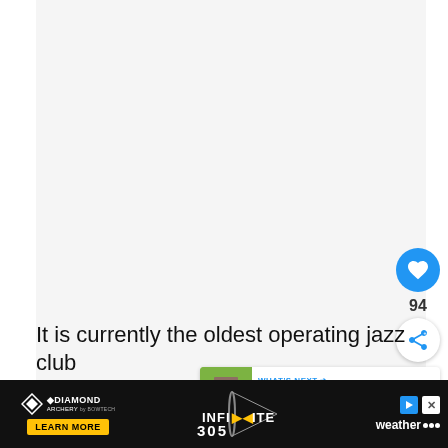[Figure (photo): Large mostly white/blank image area — content of image not visible in this crop]
[Figure (infographic): Heart/like button (blue circle with heart icon), count '94', and share button (white circle with share icon)]
[Figure (infographic): WHAT'S NEXT panel showing thumbnail of restaurant exterior and text '26 Best Restaurants ...']
It is currently the oldest operating jazz club
[Figure (other): Advertisement banner: Diamond Archery by Bowtech with LEARN MORE button, Infinite 305 bow image, and Weather.com branding with close/settings buttons]